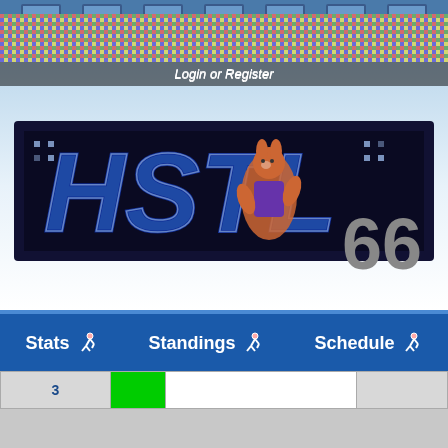[Figure (screenshot): HSTL 66 fantasy sports league website banner with stadium crowd background, mascot character, and game logo]
Login or Register
HSTL 66
Stats  Standings  Schedule
| Week | Result | Opponent | Score |
| --- | --- | --- | --- |
| 3 |  |  |  |
| Season 35, Week 2 | L | BUF / hoffnasty9 | 14 - 35 |
| Season 35, Week 1 | L | @CLE / Jfagundes04 | 7 - 10 |